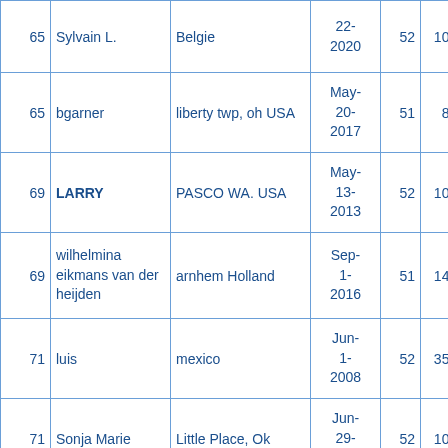|  | Name | Location | Date | Age | Points |
| --- | --- | --- | --- | --- | --- |
| 65 | Sylvain L. | Belgie | 22-2020 | 52 | 1065 |
| 65 | bgarner | liberty twp, oh USA | May-20-2017 | 51 | 881 |
| 69 | LARRY | PASCO WA. USA | May-13-2013 | 52 | 1091 |
| 69 | wilhelmina eikmans van der heijden | arnhem Holland | Sep-1-2016 | 51 | 1411 |
| 71 | luis | mexico | Jun-1-2008 | 52 | 3504 |
| 71 | Sonja Marie | Little Place, Ok | Jun-29-2008 | 52 | 1067 |
| 71 | John M. | Morris Run, PA, | Apr-8- | 52 | 192 |